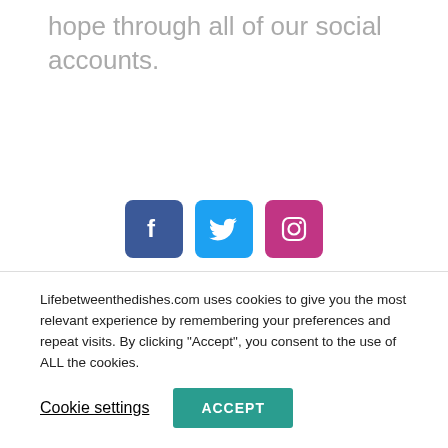hope through all of our social accounts.
[Figure (illustration): Three social media icons: Facebook (blue), Twitter (light blue), Instagram (pink/red)]
QUESTION:
Everybody's experience is different and
Lifebetweenthedishes.com uses cookies to give you the most relevant experience by remembering your preferences and repeat visits. By clicking "Accept", you consent to the use of ALL the cookies.
Cookie settings
ACCEPT